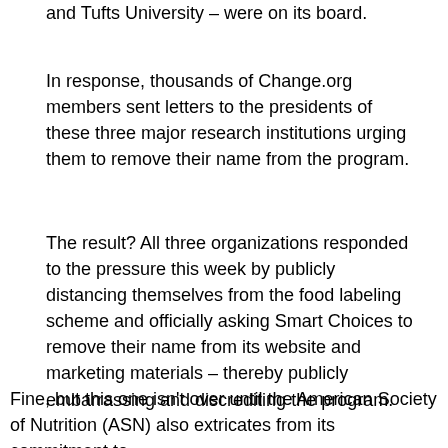and Tufts University – were on its board.
In response, thousands of Change.org members sent letters to the presidents of these three major research institutions urging them to remove their name from the program.
The result? All three organizations responded to the pressure this week by publicly distancing themselves from the food labeling scheme and officially asking Smart Choices to remove their name from its website and marketing materials – thereby publicly embarrassing and discrediting the program.
Fine, but this one isn't over until the American Society of Nutrition (ASN) also extricates from its commitment to